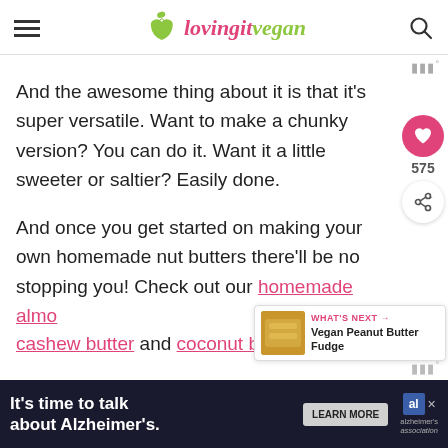lovingitvegan
And the awesome thing about it is that it's super versatile. Want to make a chunky version? You can do it. Want it a little sweeter or saltier? Easily done.
And once you get started on making your own homemade nut butters there'll be no stopping you! Check out our homemade almo cashew butter and coconut butter.
[Figure (other): What's Next promo widget showing Vegan Peanut Butter Fudge]
[Figure (other): Advertisement banner: It's time to talk about Alzheimer's. Learn More. Alzheimer's Association logo.]